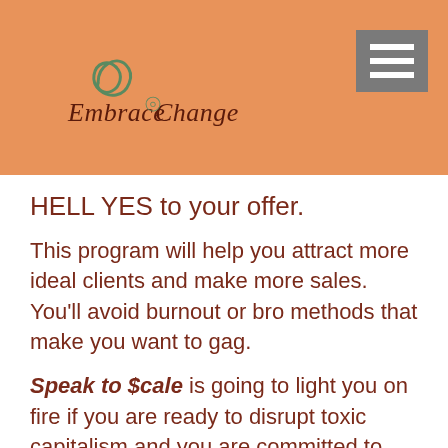[Figure (logo): Embrace Change logo with spiral graphic and cursive text on orange background, with hamburger menu icon in top right]
HELL YES to your offer.
This program will help you attract more ideal clients and make more sales. You'll avoid burnout or bro methods that make you want to gag.
Speak to $cale is going to light you on fire if you are ready to disrupt toxic capitalism and you are committed to being ethical and aligned with our values. If you are ready to give the finger to the fake scarcity and superficial lifestyle marketing